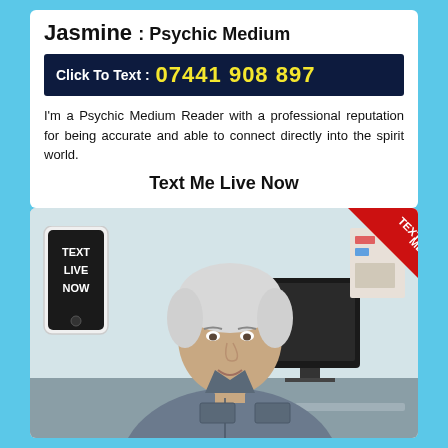Jasmine : Psychic Medium
Click To Text : 07441 908 897
I'm a Psychic Medium Reader with a professional reputation for being accurate and able to connect directly into the spirit world.
Text Me Live Now
[Figure (photo): Middle-aged man with white/grey hair wearing a grey shirt, sitting at a desk with a computer monitor, smiling slightly. Overlaid with a phone mockup showing 'TEXT LIVE NOW' text and a red corner banner saying 'TEXT ME'.]